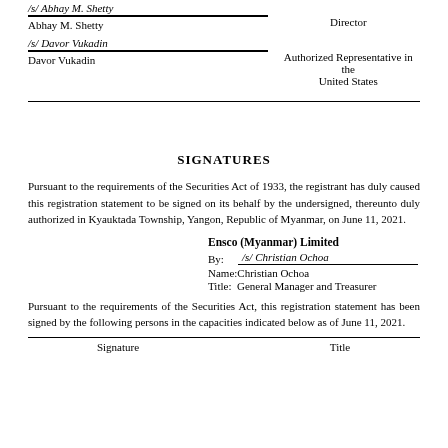/s/ Abhay M. Shetty
Abhay M. Shetty		Director
/s/ Davor Vukadin
Davor Vukadin		Authorized Representative in the United States
SIGNATURES
Pursuant to the requirements of the Securities Act of 1933, the registrant has duly caused this registration statement to be signed on its behalf by the undersigned, thereunto duly authorized in Kyauktada Township, Yangon, Republic of Myanmar, on June 11, 2021.
Ensco (Myanmar) Limited
By: /s/ Christian Ochoa
Name:Christian Ochoa
Title: General Manager and Treasurer
Pursuant to the requirements of the Securities Act, this registration statement has been signed by the following persons in the capacities indicated below as of June 11, 2021.
Signature		Title